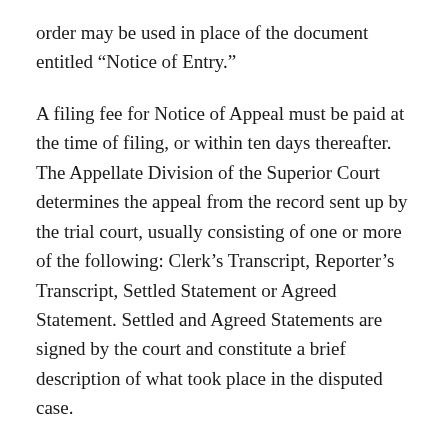order may be used in place of the document entitled “Notice of Entry.”
A filing fee for Notice of Appeal must be paid at the time of filing, or within ten days thereafter. The Appellate Division of the Superior Court determines the appeal from the record sent up by the trial court, usually consisting of one or more of the following: Clerk’s Transcript, Reporter’s Transcript, Settled Statement or Agreed Statement. Settled and Agreed Statements are signed by the court and constitute a brief description of what took place in the disputed case.
The Rules of Court describe the steps in the unlimited civil appeals process. Each step must be completed according to certain time limits. Failure to meet time requirements result in a default,